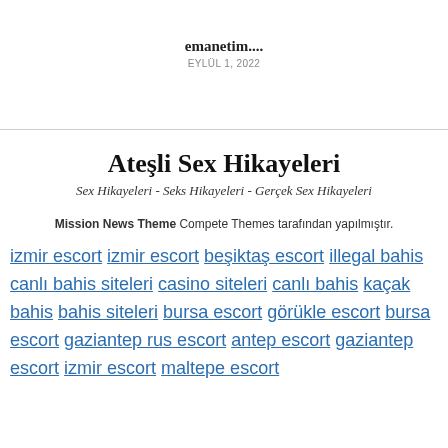emanetim....
EYLÜL 1, 2022
Ateşli Sex Hikayeleri
Sex Hikayeleri - Seks Hikayeleri - Gerçek Sex Hikayeleri
Mission News Theme Compete Themes tarafından yapılmıştır.
izmir escort izmir escort beşiktaş escort illegal bahis canlı bahis siteleri casino siteleri canlı bahis kaçak bahis bahis siteleri bursa escort görükle escort bursa escort gaziantep rus escort antep escort gaziantep escort izmir escort maltepe escort